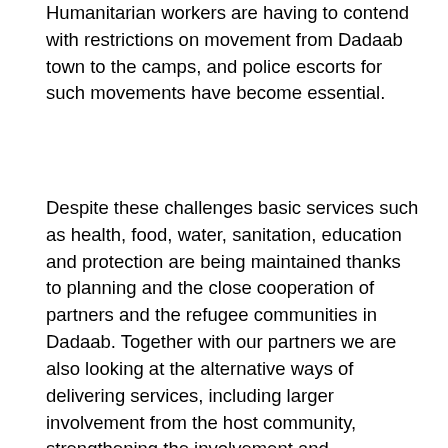Humanitarian workers are having to contend with restrictions on movement from Dadaab town to the camps, and police escorts for such movements have become essential.
Despite these challenges basic services such as health, food, water, sanitation, education and protection are being maintained thanks to planning and the close cooperation of partners and the refugee communities in Dadaab. Together with our partners we are also looking at the alternative ways of delivering services, including larger involvement from the host community, strengthening the involvement and responsibilities of incentive refugee workers, as well as enhancing communications with the refugee community.
Meanwhile in Ethiopia, a security incident occurred near the Dollo Ado camps on Wednesday morning. Three armed men in civilian clothing attempted to stop a vehicle belonging to an international NGO on the main access road between Dollo Ado town and Bur Amino camp, the fifth and newest refugee camp there. The vehicle, with four people